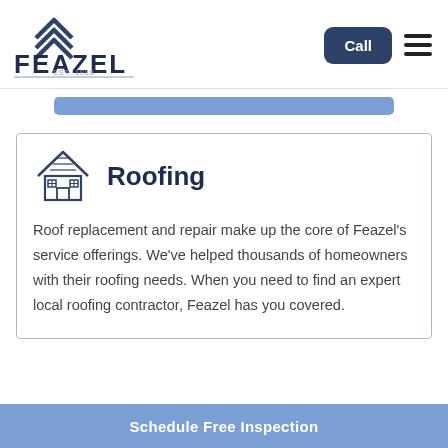[Figure (logo): Feazel roofing company logo with roof/chevron icon and text 'FEAZEL EST. 1988']
Call
[Figure (illustration): Blue rounded rectangle banner/button]
Roofing
Roof replacement and repair make up the core of Feazel's service offerings. We've helped thousands of homeowners with their roofing needs. When you need to find an expert local roofing contractor, Feazel has you covered.
Schedule Free Inspection